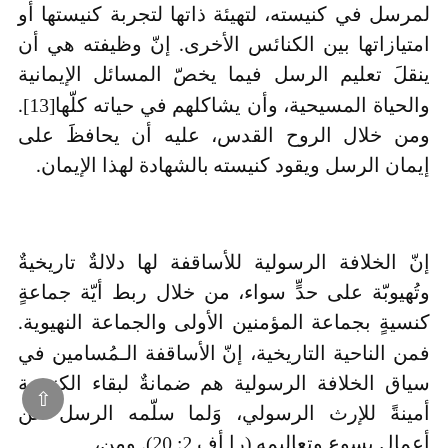لمرسل في كنيسته، لتهيئة ذاتها لتجربة كنيستها أو امتيازاتها بين الكنائس الأخرى. إنّ وظيفته هي أن ينقلَ تعليم الرسل فيما يخصّ المسائل الإيمانية والحياة المسيحية، وأن يشاكلهم في حياته كلّها[13]. ومن خلال الروح القدس، عليه أن يحافظَ على إيمان الرسل ويقود كنيسته بالشهادة لهذا الإيمان.
إنّ الخلافة الرسولية للأساقفة لها دلالةٌ تاريخيةٌ وتهيوبّة على حدٍّ سواء، من خلال ربط أيّة جماعةٍ كنسيةٍ بجماعة المؤمنين الأولى والجماعة النهيوية. فمن الناحية التاريخية، إنّ الأساقفة الـمُسامين في سياق الخلافة الرسولية هم ضمانةٌ لبقاء الكنيسة أمينةً للإرث الرسولي، وَلما سلّمه الرسل عن أعمال يسوع وتعاليمه (را أف 2: 20). ومن،